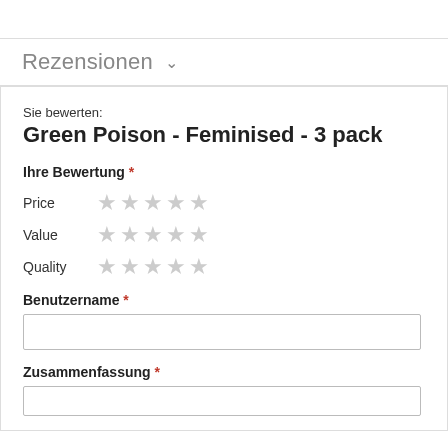Rezensionen
Sie bewerten:
Green Poison - Feminised - 3 pack
Ihre Bewertung *
Price ★★★★★
Value ★★★★★
Quality ★★★★★
Benutzername *
Zusammenfassung *